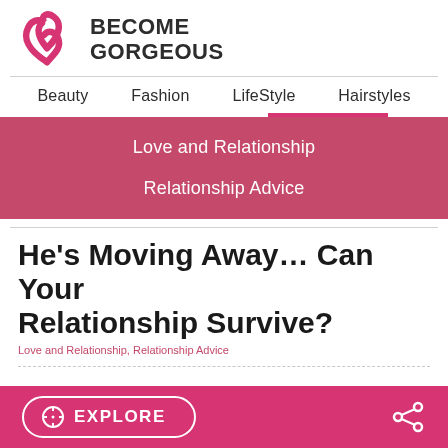[Figure (logo): Become Gorgeous logo with pink swirl icon and bold uppercase text BECOME GORGEOUS]
Beauty   Fashion   LifeStyle   Hairstyles
Love and Relationship
Relationship Advice
He's Moving Away… Can Your Relationship Survive?
Love and Relationship, Relationship Advice
EXPLORE